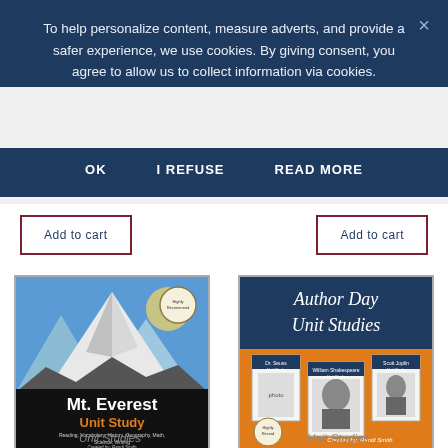To help personalize content, measure adverts, and provide a safer experience, we use cookies. By giving consent, you agree to allow us to collect information via cookies.
OK   I REFUSE   READ MORE
Add to cart
Add to cart
[Figure (illustration): Mt. Everest Unit Study book cover with mountain illustration, blue background, orange text reading 'Unit Study', and subtitle 'Reading, Vocabulary, History, Geography, Math, Science, Writing. Created by: Randi Smith']
[Figure (illustration): Author Day Unit Studies book cover with orange background, dark blue header reading 'Author Day Unit Studies', and three small portrait images below. Created by: Randi Smith]
Unit Studies
Unit Studies